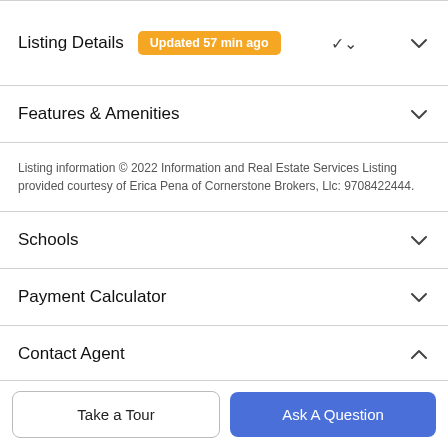Listing Details Updated 57 min ago
Features & Amenities
Listing information © 2022 Information and Real Estate Services Listing provided courtesy of Erica Pena of Cornerstone Brokers, Llc: 9708422444.
Schools
Payment Calculator
Contact Agent
Take a Tour
Ask A Question